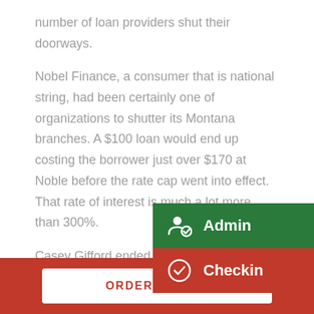number of loan providers shut their doorways.

Nobel Finance, a consumer that is national string, had been certainly one of organizations to shutter its Montana branches. A $100 loan would end up costing the borrower just over $170 at Noble before the rate cap went into effect. That rate of interest is much a lot more than 300%.

Casey Gifford ended up being the organization's manager in Helena,
[Figure (screenshot): Dropdown menu with two items: 'Admin' (green background with person/check icon) and 'Checkin' (red background with circle-check icon)]
ORDER ONLINE